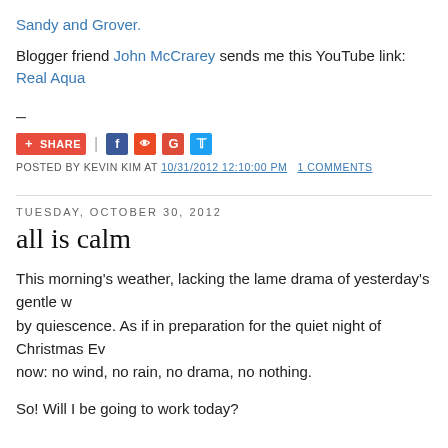Sandy and Grover.
Blogger friend John McCrarey sends me this YouTube link: Real Aqua
–
SHARE | [social icons]
POSTED BY KEVIN KIM AT 10/31/2012 12:10:00 PM   1 COMMENTS
TUESDAY, OCTOBER 30, 2012
all is calm
This morning's weather, lacking the lame drama of yesterday's gentle w... by quiescence. As if in preparation for the quiet night of Christmas Ev... now: no wind, no rain, no drama, no nothing.
So! Will I be going to work today?